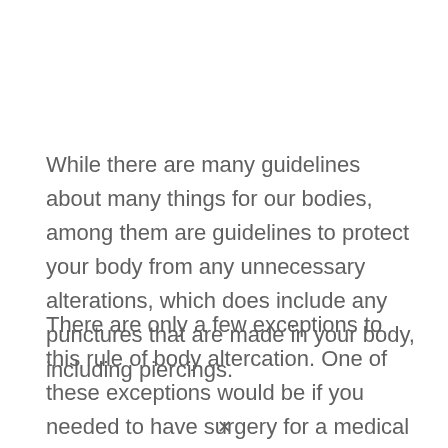While there are many guidelines about many things for our bodies, among them are guidelines to protect your body from any unnecessary alterations, which does include any punctures that are made in your body, including piercings.
There are only a few exceptions to this rule of body altercation. One of these exceptions would be if you needed to have surgery for a medical reason.